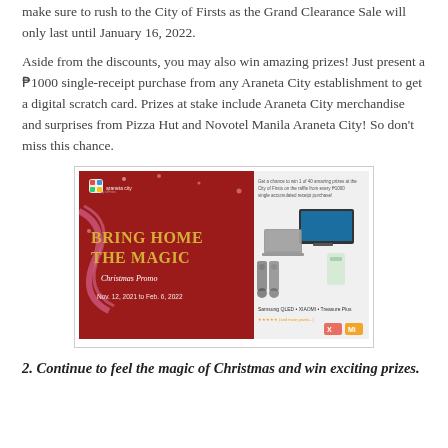make sure to rush to the City of Firsts as the Grand Clearance Sale will only last until January 16, 2022.
Aside from the discounts, you may also win amazing prizes! Just present a ₱1000 single-receipt purchase from any Araneta City establishment to get a digital scratch card. Prizes at stake include Araneta City merchandise and surprises from Pizza Hut and Novotel Manila Araneta City! So don't miss this chance.
[Figure (photo): Promotional banner for Araneta City 'Bring Home the Magic Christmas Promo' from Nov. 12, 2021 to Feb. 6, 2022, with prizes including electronics. Features red sparkly background with gold text on the left and product images on the right.]
2. Continue to feel the magic of Christmas and win exciting prizes.